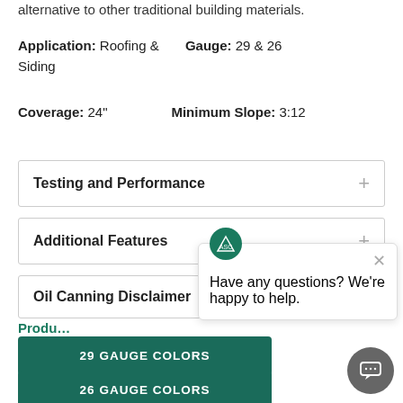alternative to other traditional building materials.
Application: Roofing & Siding   Gauge: 29 & 26
Coverage: 24"   Minimum Slope: 3:12
Testing and Performance
Additional Features
Oil Canning Disclaimer
Produ
29 GAUGE COLORS
26 GAUGE COLORS
Have any questions? We're happy to help.